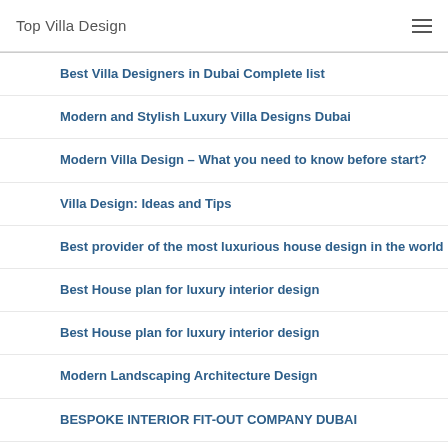Top Villa Design
Best Villa Designers in Dubai Complete list
Modern and Stylish Luxury Villa Designs Dubai
Modern Villa Design – What you need to know before start?
Villa Design: Ideas and Tips
Best provider of the most luxurious house design in the world
Best House plan for luxury interior design
Best House plan for luxury interior design
Modern Landscaping Architecture Design
BESPOKE INTERIOR FIT-OUT COMPANY DUBAI